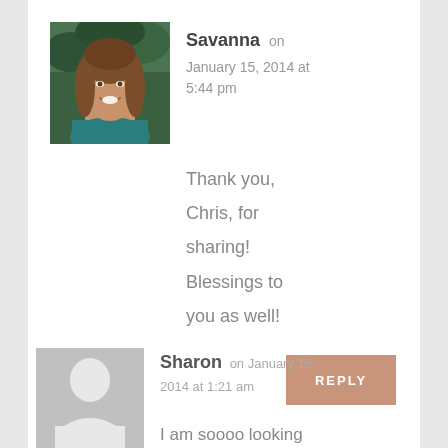[Figure (photo): Profile photo of Savanna, a smiling woman with long brown hair wearing a teal top, outdoors with green background]
Savanna on January 15, 2014 at 5:44 pm
Thank you, Chris, for sharing! Blessings to you as well!
REPLY
[Figure (illustration): Generic gray avatar silhouette placeholder image]
Sharon on January 15, 2014 at 1:21 am
I am soooo looking